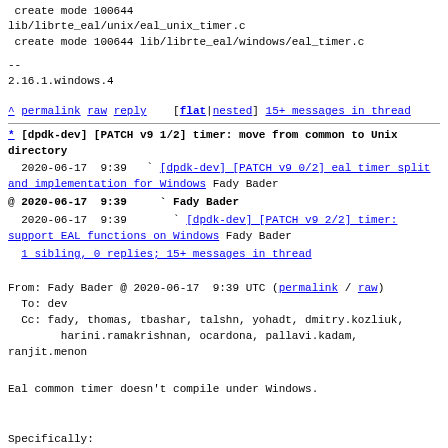create mode 100644
lib/librte_eal/unix/eal_unix_timer.c
 create mode 100644 lib/librte_eal/windows/eal_timer.c
--
2.16.1.windows.4
^ permalink raw reply   [flat|nested] 15+ messages in thread
* [dpdk-dev] [PATCH v9 1/2] timer: move from common to Unix directory
  2020-06-17  9:39   ` [dpdk-dev] [PATCH v9 0/2] eal timer split and implementation for Windows Fady Bader
@ 2020-06-17  9:39     ` Fady Bader
  2020-06-17  9:39       ` [dpdk-dev] [PATCH v9 2/2] timer: support EAL functions on Windows Fady Bader
  1 sibling, 0 replies; 15+ messages in thread
From: Fady Bader @ 2020-06-17  9:39 UTC (permalink / raw)
To: dev
Cc: fady, thomas, tbashar, talshn, yohadt, dmitry.kozliuk,
        harini.ramakrishnan, ocardona, pallavi.kadam, ranjit.menon
Eal common timer doesn't compile under Windows.
Specifically: